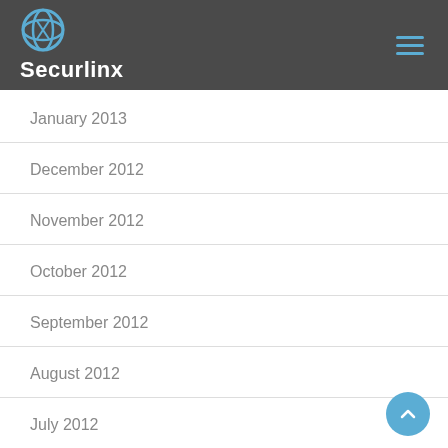Securlinx
January 2013
December 2012
November 2012
October 2012
September 2012
August 2012
July 2012
June 2012